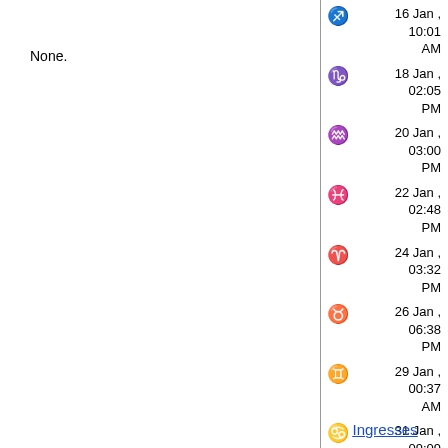None.
Sagittarius: 16 Jan, 10:01 AM
Capricorn: 18 Jan, 02:05 PM
Aquarius: 20 Jan, 03:00 PM
Pisces: 22 Jan, 02:48 PM
Aries: 24 Jan, 03:32 PM
Taurus: 26 Jan, 06:38 PM
Gemini: 29 Jan, 00:37 AM
Cancer: 31 Jan, 09:09 AM
Ingresses